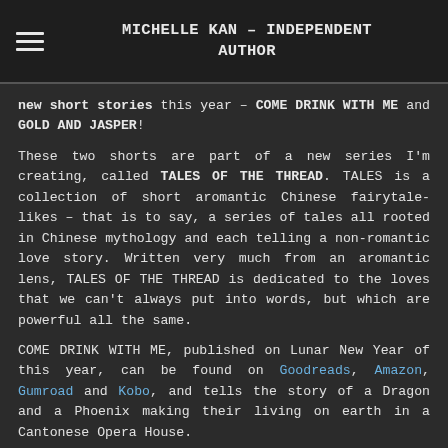MICHELLE KAN – INDEPENDENT AUTHOR
new short stories this year – COME DRINK WITH ME and GOLD AND JASPER!
These two shorts are part of a new series I'm creating, called TALES OF THE THREAD. TALES is a collection of short aromantic Chinese fairytale-likes – that is to say, a series of tales all rooted in Chinese mythology and each telling a non-romantic love story. Written very much from an aromantic lens, TALES OF THE THREAD is dedicated to the loves that we can't always put into words, but which are powerful all the same.
COME DRINK WITH ME, published on Lunar New Year of this year, can be found on Goodreads, Amazon, Gumroad and Kobo, and tells the story of a Dragon and a Phoenix making their living on earth in a Cantonese Opera House.
GOLD AND JASPER, published on Mid-Autumn Festival last